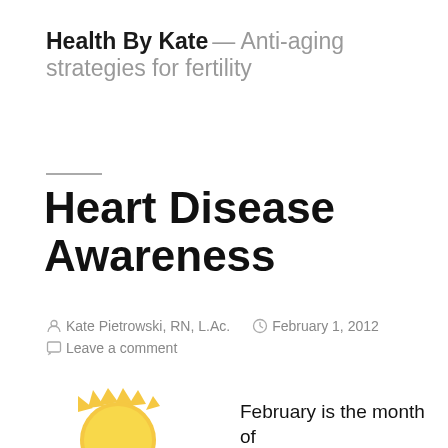Health By Kate — Anti-aging strategies for fertility
Heart Disease Awareness
Kate Pietrowski, RN, L.Ac.   February 1, 2012   Leave a comment
February is the month of